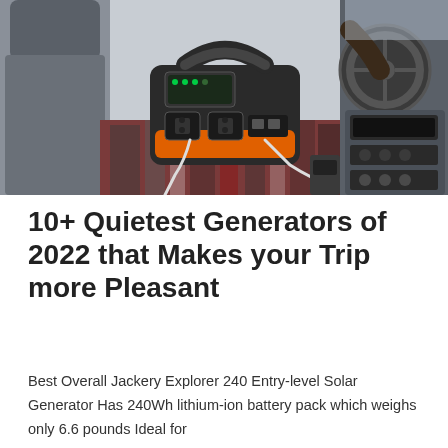[Figure (photo): A portable power station (Jackery Explorer) sitting on the passenger seat of a vehicle, with cables plugged in, a patterned blanket underneath it, and a person driving visible in the background. Vehicle interior with dashboard, steering wheel, and center console visible.]
10+ Quietest Generators of 2022 that Makes your Trip more Pleasant
Best Overall Jackery Explorer 240 Entry-level Solar Generator Has 240Wh lithium-ion battery pack which weighs only 6.6 pounds Ideal for